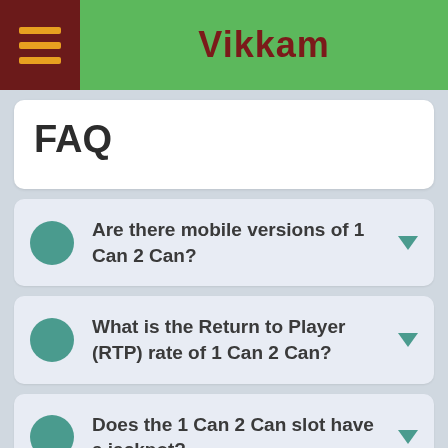Vikkam
FAQ
Are there mobile versions of 1 Can 2 Can?
What is the Return to Player (RTP) rate of 1 Can 2 Can?
Does the 1 Can 2 Can slot have a jackpot?